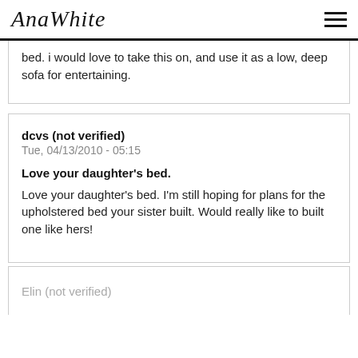AnaWhite
bed. i would love to take this on, and use it as a low, deep sofa for entertaining.
dcvs (not verified)
Tue, 04/13/2010 - 05:15

Love your daughter's bed.

Love your daughter's bed. I'm still hoping for plans for the upholstered bed your sister built. Would really like to built one like hers!
Elin (not verified)